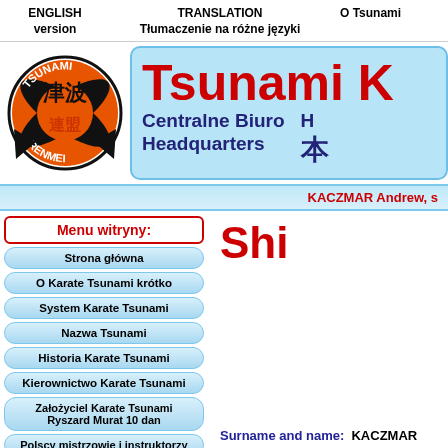ENGLISH version | TRANSLATION Tłumaczenie na różne języki | O Tsunami
[Figure (logo): Tsunami Renmei circular logo with orange and black karate design, Japanese characters 津波 and 連盟]
Tsunami K... Centralne Biuro Headquarters H... 本...
KACZMAR Andrew, s...
Menu witryny:
Strona główna
O Karate Tsunami krótko
System Karate Tsunami
Nazwa Tsunami
Historia Karate Tsunami
Kierownictwo Karate Tsunami
Założyciel Karate Tsunami Ryszard Murat 10 dan
Polscy mistrzowie i instruktorzy
Shi...
Surname and name:  KACZMAR...
Place in which he lives, countr...